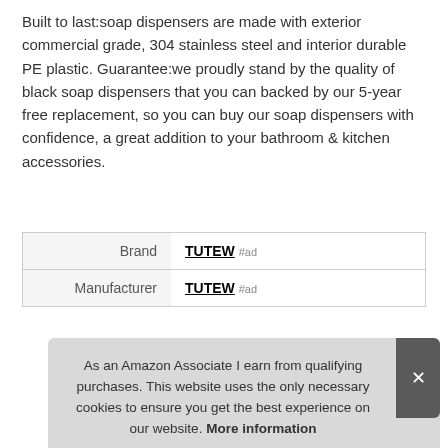Built to last:soap dispensers are made with exterior commercial grade, 304 stainless steel and interior durable PE plastic. Guarantee:we proudly stand by the quality of black soap dispensers that you can backed by our 5-year free replacement, so you can buy our soap dispensers with confidence, a great addition to your bathroom & kitchen accessories.
| Brand | TUTEW #ad |
| Manufacturer | TUTEW #ad |
As an Amazon Associate I earn from qualifying purchases. This website uses the only necessary cookies to ensure you get the best experience on our website. More information